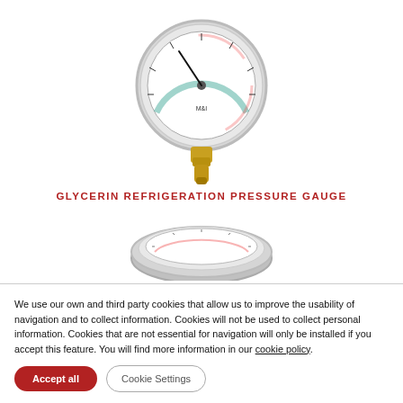[Figure (photo): Glycerin refrigeration pressure gauge with brass fitting at bottom, circular dial face with colored scale markings, stainless steel casing]
GLYCERIN REFRIGERATION PRESSURE GAUGE
[Figure (photo): Second pressure gauge, stainless steel, front view showing circular dial face with scale markings, no fitting visible]
We use our own and third party cookies that allow us to improve the usability of navigation and to collect information. Cookies will not be used to collect personal information. Cookies that are not essential for navigation will only be installed if you accept this feature. You will find more information in our cookie policy.
Accept all
Cookie Settings